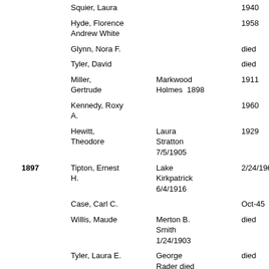| Year | Name | Spouse/Info | Date/Status |
| --- | --- | --- | --- |
|  | Squier, Laura |  | 1940 |
|  | Hyde, Florence Andrew White |  | 1958 |
|  | Glynn, Nora F. |  | died |
|  | Tyler, David |  | died |
|  | Miller, Gertrude | Markwood Holmes  1898 | 1911 |
|  | Kennedy, Roxy A. |  | 1960 |
|  | Hewitt, Theodore | Laura Stratton 7/5/1905 | 1929 |
| 1897 | Tipton, Ernest H. | Lake Kirkpatrick 6/4/1916 | 2/24/1963 |
|  | Case, Carl C. |  | Oct-45 |
|  | Willis, Maude | Merton B. Smith 1/24/1903 | died |
|  | Tyler, Laura E. | George Rader died | died |
|  | Hall, Fred W. | Sadie Scott | died |
|  | Kearney, | Thomas | died |